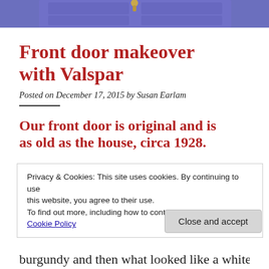[Figure (photo): Close-up photo of a blue/purple painted front door with a brass door knocker, viewed from slightly above.]
Front door makeover with Valspar
Posted on December 17, 2015 by Susan Earlam
Our front door is original and is as old as the house, circa 1928.
Privacy & Cookies: This site uses cookies. By continuing to use this website, you agree to their use.
To find out more, including how to control cookies, see here:
Cookie Policy
Close and accept
burgundy and then what looked like a white